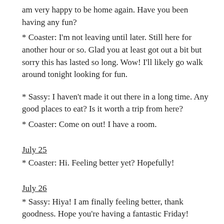am very happy to be home again. Have you been having any fun?
* Coaster: I'm not leaving until later. Still here for another hour or so. Glad you at least got out a bit but sorry this has lasted so long. Wow! I'll likely go walk around tonight looking for fun.
* Sassy: I haven't made it out there in a long time. Any good places to eat? Is it worth a trip from here?
* Coaster: Come on out! I have a room.
July 25
* Coaster: Hi. Feeling better yet? Hopefully!
July 26
* Sassy: Hiya! I am finally feeling better, thank goodness. Hope you're having a fantastic Friday!
July 27